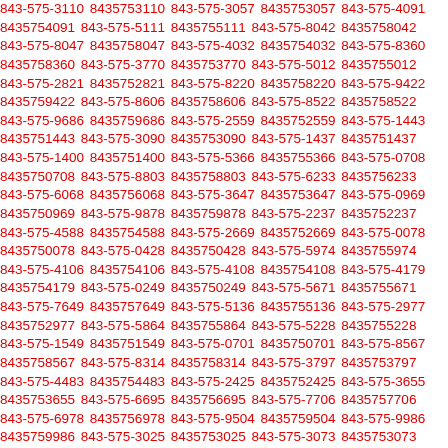843-575-3110 8435753110 843-575-3057 8435753057 843-575-4091 8435754091 843-575-5111 8435755111 843-575-8042 8435758042 843-575-8047 8435758047 843-575-4032 8435754032 843-575-8360 8435758360 843-575-3770 8435753770 843-575-5012 8435755012 843-575-2821 8435752821 843-575-8220 8435758220 843-575-9422 8435759422 843-575-8606 8435758606 843-575-8522 8435758522 843-575-9686 8435759686 843-575-2559 8435752559 843-575-1443 8435751443 843-575-3090 8435753090 843-575-1437 8435751437 843-575-1400 8435751400 843-575-5366 8435755366 843-575-0708 8435750708 843-575-8803 8435758803 843-575-6233 8435756233 843-575-6068 8435756068 843-575-3647 8435753647 843-575-0969 8435750969 843-575-9878 8435759878 843-575-2237 8435752237 843-575-4588 8435754588 843-575-2669 8435752669 843-575-0078 8435750078 843-575-0428 8435750428 843-575-5974 8435755974 843-575-4106 8435754106 843-575-4108 8435754108 843-575-4179 8435754179 843-575-0249 8435750249 843-575-5671 8435755671 843-575-7649 8435757649 843-575-5136 8435755136 843-575-2977 8435752977 843-575-5864 8435755864 843-575-5228 8435755228 843-575-1549 8435751549 843-575-0701 8435750701 843-575-8567 8435758567 843-575-8314 8435758314 843-575-3797 8435753797 843-575-4483 8435754483 843-575-2425 8435752425 843-575-3655 8435753655 843-575-6695 8435756695 843-575-7706 8435757706 843-575-6978 8435756978 843-575-9504 8435759504 843-575-9986 8435759986 843-575-3025 8435753025 843-575-3073 8435753073 843-575-6201 8435756201 843-575-7305 8435757305 843-575-3640 8435753640 843-575-8725 8435758725 843-575-3084 8435753084